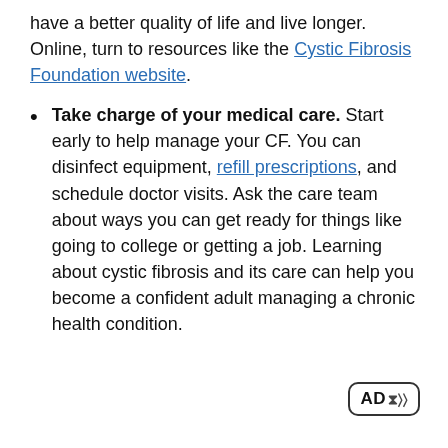have a better quality of life and live longer. Online, turn to resources like the Cystic Fibrosis Foundation website.
Take charge of your medical care. Start early to help manage your CF. You can disinfect equipment, refill prescriptions, and schedule doctor visits. Ask the care team about ways you can get ready for things like going to college or getting a job. Learning about cystic fibrosis and its care can help you become a confident adult managing a chronic health condition.
[Figure (logo): AD badge icon with audio description symbol]